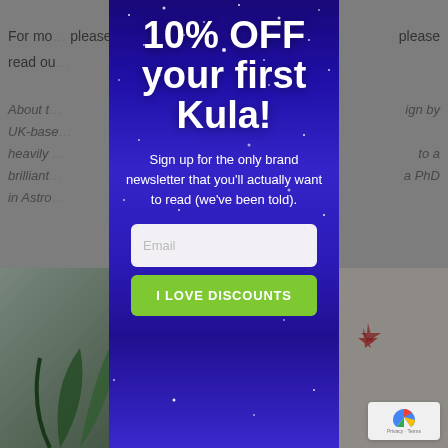For mo… please read ou…
About t… ign by UK-base… heavily a… to a brilliant… a PhD in Astro…
[Figure (screenshot): Website popup modal with dark blue/purple starry night sky background. Headline: 10% OFF your first Kula! Subtext: Sign up for the only brand newsletter that you'll actually want to read (we've been told). Email input field and green button: I LOVE DISCOUNTS]
[Figure (photo): Left: green plant photograph. Right: room with art and decor.]
Email
I LOVE DISCOUNTS